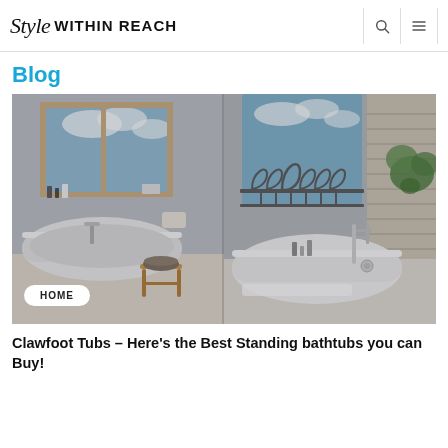Style WITHIN REACH
Blog
[Figure (photo): Collage of two bathroom scenes with freestanding/clawfoot bathtubs. Left: white clawfoot tub near wooden-framed windows with city view, wooden stool with basket. Right: white freestanding tub near ornate iron railing balcony window with chrome faucet and green plant. HOME badge overlay at bottom left.]
Clawfoot Tubs – Here's the Best Standing bathtubs you can Buy!